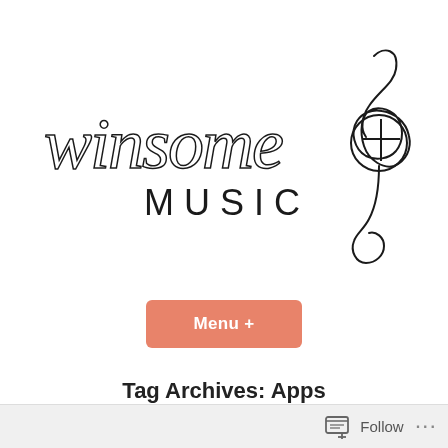[Figure (logo): Winsome Music logo with handwritten cursive 'winsome' text and 'MUSIC' in spaced capitals, alongside a treble clef symbol with a cross embedded inside the loop]
Menu +
Tag Archives: Apps
Follow ...